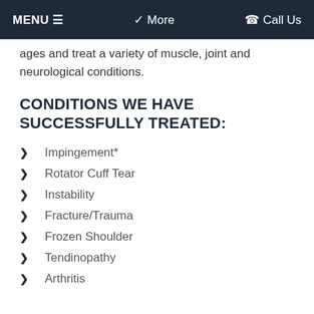MENU ≡   ❯ More   ☎ Call Us
ages and treat a variety of muscle, joint and neurological conditions.
CONDITIONS WE HAVE SUCCESSFULLY TREATED:
Impingement*
Rotator Cuff Tear
Instability
Fracture/Trauma
Frozen Shoulder
Tendinopathy
Arthritis